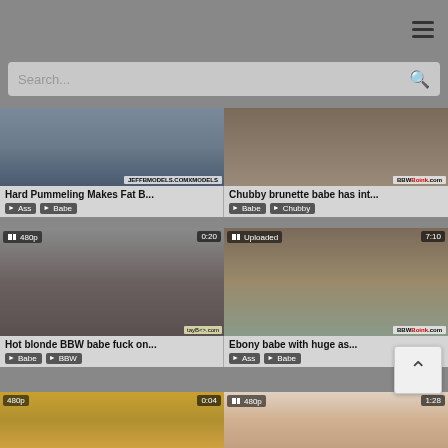Search...
[Figure (screenshot): Video thumbnail: Hard Pummeling Makes Fat B...]
Hard Pummeling Makes Fat B...
Ass  Babe
[Figure (screenshot): Video thumbnail: Chubby brunette babe has int...]
Chubby brunette babe has int...
Babe  Chubby
[Figure (screenshot): Video thumbnail 480p 0:20: Hot blonde BBW babe fuck on...]
Hot blonde BBW babe fuck on...
Babe  BBW
[Figure (screenshot): Video thumbnail Uploaded 7:10: Ebony babe with huge as...]
Ebony babe with huge as...
Ass  Babe
[Figure (screenshot): Video thumbnail 480p 0:04]
[Figure (screenshot): Video thumbnail 480p 1:28]